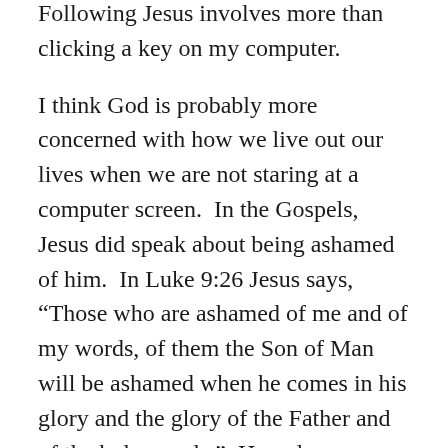Following Jesus involves more than clicking a key on my computer.
I think God is probably more concerned with how we live out our lives when we are not staring at a computer screen.  In the Gospels, Jesus did speak about being ashamed of him.  In Luke 9:26 Jesus says, “Those who are ashamed of me and of my words, of them the Son of Man will be ashamed when he comes in his glory and the glory of the Father and of the holy angels.”  How do we shame Jesus?
We shame Jesus when we live our lives unconcerned about those around us who are suffering, broken, and hurting.  When we close our